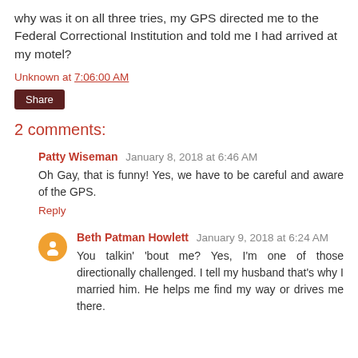why was it on all three tries, my GPS directed me to the Federal Correctional Institution and told me I had arrived at my motel?
Unknown at 7:06:00 AM
Share
2 comments:
Patty Wiseman January 8, 2018 at 6:46 AM
Oh Gay, that is funny! Yes, we have to be careful and aware of the GPS.
Reply
Beth Patman Howlett January 9, 2018 at 6:24 AM
You talkin' 'bout me? Yes, I'm one of those directionally challenged. I tell my husband that's why I married him. He helps me find my way or drives me there.